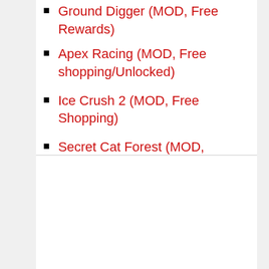Ground Digger (MOD, Free Rewards)
Apex Racing (MOD, Free shopping/Unlocked)
Ice Crush 2 (MOD, Free Shopping)
Secret Cat Forest (MOD, Unlimited money)
Coin Princess VIP (MOD, infinite money)
Raid & Rush (MOD, Free Rewards)